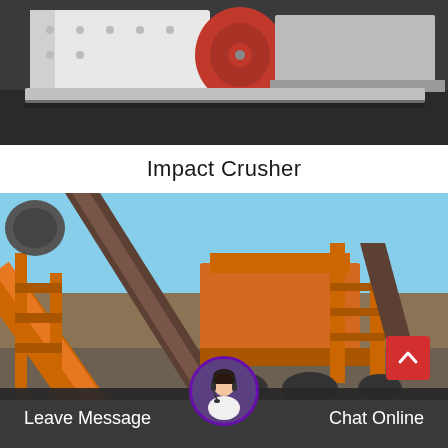[Figure (photo): Photo of an industrial jaw crusher machine, white and red colored, on dark ground]
Impact Crusher
[Figure (photo): Photo of an industrial impact crusher/conveyor belt system, orange metal structure with conveyor belts against blue sky background]
Leave Message   Chat Online